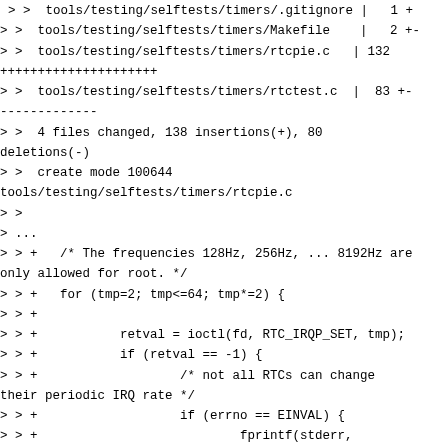> >  tools/testing/selftests/timers/.gitignore |   1 +
> >  tools/testing/selftests/timers/Makefile    |   2 +-
> >  tools/testing/selftests/timers/rtcpie.c   | 132
+++++++++++++++++++++
> >  tools/testing/selftests/timers/rtctest.c  |  83 +-
-------------
> >  4 files changed, 138 insertions(+), 80
deletions(-)
> >  create mode 100644
tools/testing/selftests/timers/rtcpie.c
> >
> ...
> > +   /* The frequencies 128Hz, 256Hz, ... 8192Hz are
only allowed for root. */
> > +   for (tmp=2; tmp<=64; tmp*=2) {
> > +
> > +           retval = ioctl(fd, RTC_IRQP_SET, tmp);
> > +           if (retval == -1) {
> > +                   /* not all RTCs can change
their periodic IRQ rate */
> > +                   if (errno == EINVAL) {
> > +                           fprintf(stderr,
> > +                                   "\n...Periodic
IRQ rate is fixed\n");
> > +                           goto done;
> > +                   }
> > +                   perror("RTC_IRQP_SET ioctl");
> > +                   exit(errno);
> > +           }
>
> ...